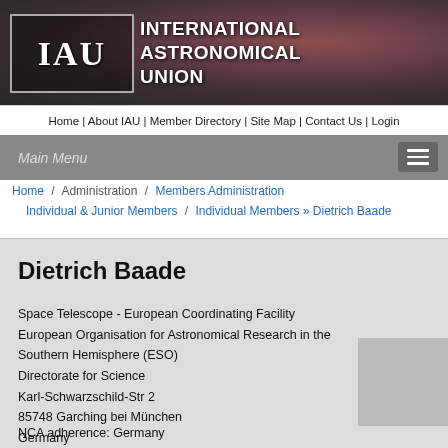[Figure (logo): International Astronomical Union (IAU) logo with astronomical nebula background]
INTERNATIONAL ASTRONOMICAL UNION
Home | About IAU | Member Directory | Site Map | Contact Us | Login
Main Menu
Home / Administration / Members Administration / Individual & Junior Members / Individual Members » Dietrich Baade
Dietrich Baade
Space Telescope - European Coordinating Facility
European Organisation for Astronomical Research in the Southern Hemisphere (ESO)
Directorate for Science
Karl-Schwarzschild-Str 2
85748 Garching bei München
Germany
NCA adherence: Germany